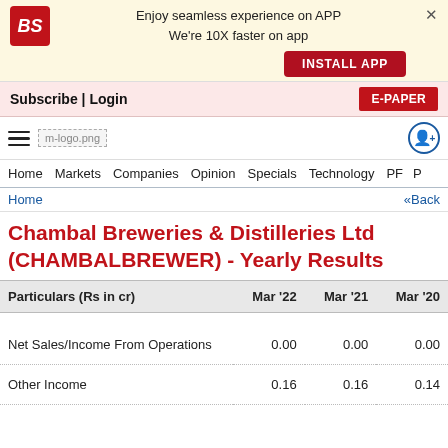[Figure (logo): Business Standard app install ad banner with BS logo, 'Enjoy seamless experience on APP We're 10X faster on app' text, INSTALL APP button, and close X]
Subscribe | Login
E-PAPER
[Figure (logo): Hamburger menu icon, m-logo.png placeholder, notification bell icon]
Home   Markets   Companies   Opinion   Specials   Technology   PF   P
Home   «Back
Chambal Breweries & Distilleries Ltd (CHAMBALBREWER) - Yearly Results
| Particulars (Rs in cr) | Mar '22 | Mar '21 | Mar '20 |
| --- | --- | --- | --- |
| Net Sales/Income From Operations | 0.00 | 0.00 | 0.00 |
| Other Income | 0.16 | 0.16 | 0.14 |